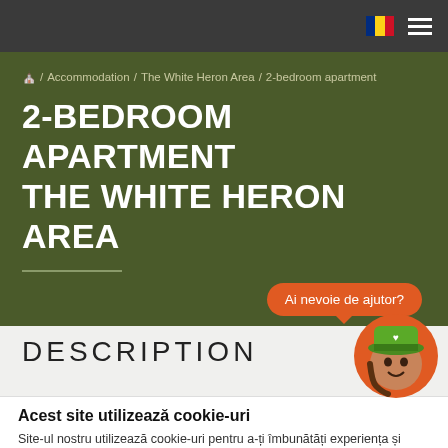Navigation bar with Romanian flag and menu icon
🏠 / Accommodation / The White Heron Area / 2-bedroom apartment
2-BEDROOM APARTMENT THE WHITE HERON AREA
Ai nevoie de ajutor?
DESCRIPTION
[Figure (illustration): Cartoon mascot with green hat inside an orange circle]
Acest site utilizează cookie-uri
Site-ul nostru utilizează cookie-uri pentru a-ți îmbunătăți experiența și pentru a-ți afișa conținut și anunțuri relevante atunci când navighezi pe web. Continuă să navighezi pe site sau alege să accepți dacă ești de acord cu